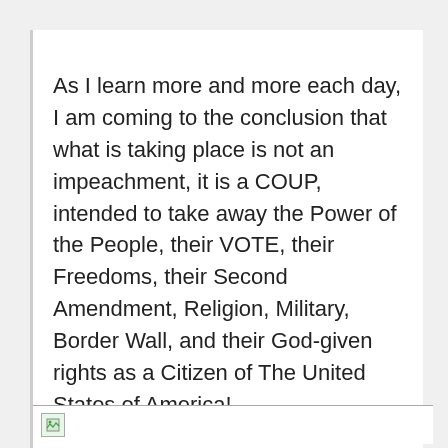As I learn more and more each day, I am coming to the conclusion that what is taking place is not an impeachment, it is a COUP, intended to take away the Power of the People, their VOTE, their Freedoms, their Second Amendment, Religion, Military, Border Wall, and their God-given rights as a Citizen of The United States of America!
[Figure (other): Broken/missing image placeholder with small icon at bottom of content area]